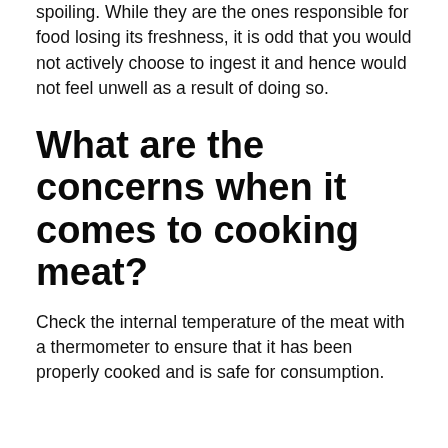spoiling. While they are the ones responsible for food losing its freshness, it is odd that you would not actively choose to ingest it and hence would not feel unwell as a result of doing so.
What are the concerns when it comes to cooking meat?
Check the internal temperature of the meat with a thermometer to ensure that it has been properly cooked and is safe for consumption.